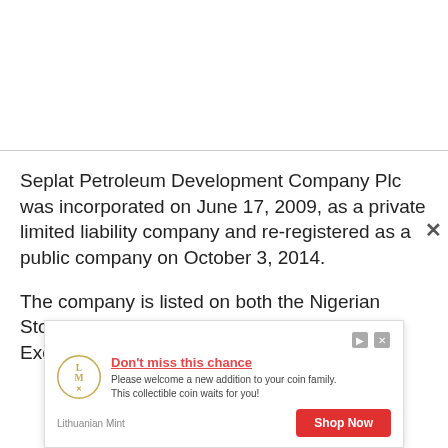Seplat Petroleum Development Company Plc was incorporated on June 17, 2009, as a private limited liability company and re-registered as a public company on October 3, 2014.
The company is listed on both the Nigerian Stock Exchange (NSE) and London Stock Exchange